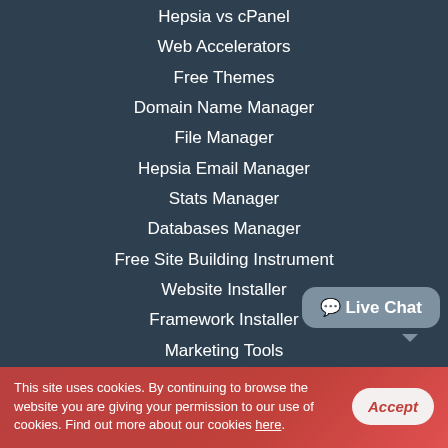Hepsia vs cPanel
Web Accelerators
Free Themes
Domain Name Manager
File Manager
Hepsia Email Manager
Stats Manager
Databases Manager
Free Site Building Instrument
Website Installer
Framework Installer
Marketing Tools
Advanced Tools
Support
Support
Shared Website Hosting Support
[Figure (illustration): Live Chat bubble widget in bottom right]
This site uses cookies. By continuing to browse the website you are giving your permission to our use of cookies. Find out more about our cookies here.